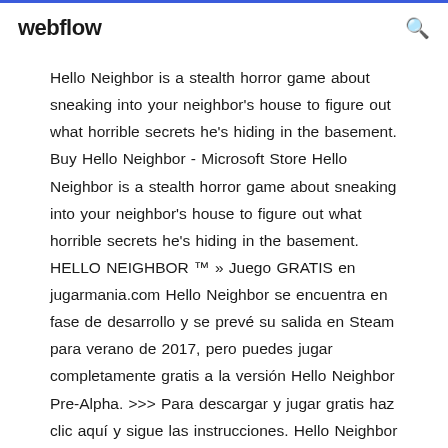webflow
Hello Neighbor is a stealth horror game about sneaking into your neighbor's house to figure out what horrible secrets he's hiding in the basement. Buy Hello Neighbor - Microsoft Store Hello Neighbor is a stealth horror game about sneaking into your neighbor's house to figure out what horrible secrets he's hiding in the basement. HELLO NEIGHBOR ™ » Juego GRATIS en jugarmania.com Hello Neighbor se encuentra en fase de desarrollo y se prevé su salida en Steam para verano de 2017, pero puedes jugar completamente gratis a la versión Hello Neighbor Pre-Alpha. >>> Para descargar y jugar gratis haz clic aquí y sigue las instrucciones. Hello Neighbor Alpha Versio…